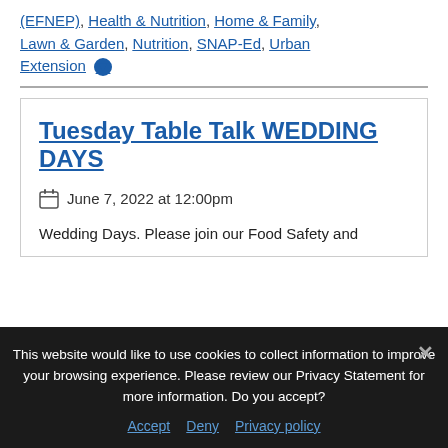(EFNEP), Health & Nutrition, Home & Family, Lawn & Garden, Nutrition, SNAP-Ed, Urban Extension ▾
Tuesday Table Talk WEDDING DAYS
June 7, 2022 at 12:00pm
Wedding Days. Please join our Food Safety and
This website would like to use cookies to collect information to improve your browsing experience. Please review our Privacy Statement for more information. Do you accept?
Accept
Deny
Privacy policy